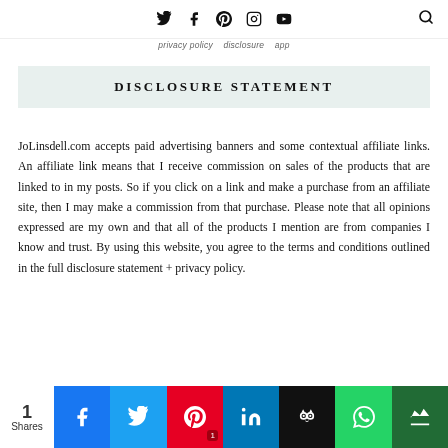Twitter Facebook Pinterest Instagram YouTube [search]
... privacy policy ... app ...
DISCLOSURE STATEMENT
JoLinsdell.com accepts paid advertising banners and some contextual affiliate links. An affiliate link means that I receive commission on sales of the products that are linked to in my posts. So if you click on a link and make a purchase from an affiliate site, then I may make a commission from that purchase. Please note that all opinions expressed are my own and that all of the products I mention are from companies I know and trust. By using this website, you agree to the terms and conditions outlined in the full disclosure statement + privacy policy.
1 Shares | Social share buttons: Facebook, Twitter, Pinterest (1), LinkedIn, Hootsuite, WhatsApp, Crown